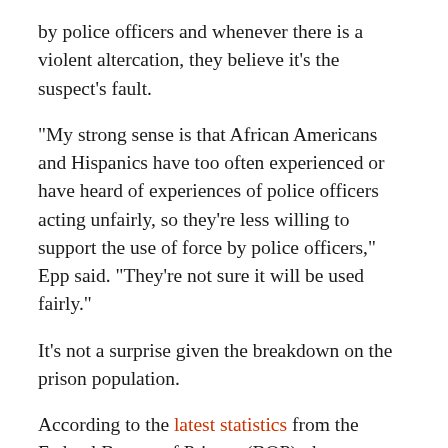by police officers and whenever there is a violent altercation, they believe it's the suspect's fault.
“My strong sense is that African Americans and Hispanics have too often experienced or have heard of experiences of police officers acting unfairly, so they’re less willing to support the use of force by police officers,” Epp said. “They’re not sure it will be used fairly.”
It’s not a surprise given the breakdown on the prison population.
According to the latest statistics from the Federal Bureau of Prisons (BOP), there are 78,502 black inmates; 72,138 Latino inmates and 51,862 white inmates in federal prisons across the country. (Editor’s Note: Latino inmates were counted as white in the BOP tallies broken down by race. Looking under “Ethnicity,” the number of Latino